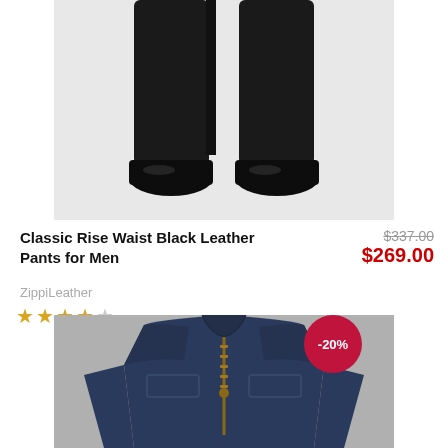[Figure (photo): Bottom half of a person wearing black leather pants and black shoes, shown against a white background]
Classic Rise Waist Black Leather Pants for Men
ZippiLeather
★★★★☆ (4 out of 5 stars)
$337.00 (original price, struck through)
$269.00 (sale price)
[Figure (photo): Navy blue leather biker jacket with front zipper and chest pockets, shown on a grey background with a -20% discount badge]